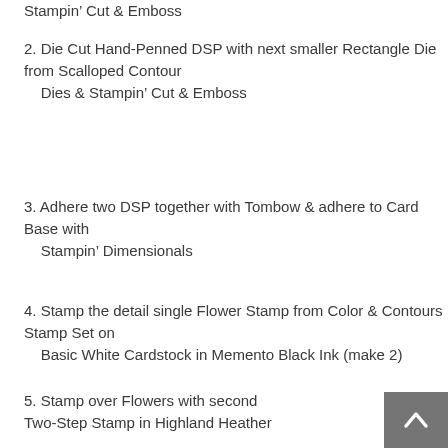Stampin’ Cut & Emboss
2. Die Cut Hand-Penned DSP with next smaller Rectangle Die from Scalloped Contour
    Dies & Stampin’ Cut & Emboss
3. Adhere two DSP together with Tombow & adhere to Card Base with
    Stampin’ Dimensionals
4. Stamp the detail single Flower Stamp from Color & Contours Stamp Set on
    Basic White Cardstock in Memento Black Ink (make 2)
5. Stamp over Flowers with second Two-Step Stamp in Highland Heather